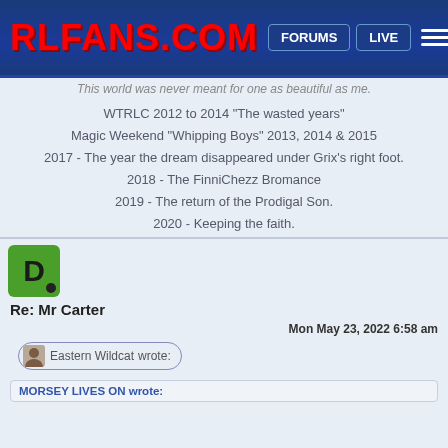RLFANS.COM | FORUMS | LIVE
This world was never meant for one as beautiful as me.
WTRLC 2012 to 2014 "The wasted years"
Magic Weekend "Whipping Boys" 2013, 2014 & 2015
2017 - The year the dream disappeared under Grix's right foot.
2018 - The FinniChezz Bromance
2019 - The return of the Prodigal Son.
2020 - Keeping the faith.
Re: Mr Carter
Mon May 23, 2022 6:58 am
Eastern Wildcat wrote:
MORSEY LIVES ON wrote: